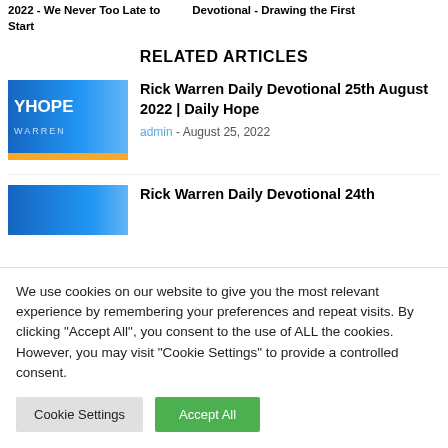2022 - We Never Too Late to Start   Devotional - Drawing the First Start
RELATED ARTICLES
[Figure (photo): Thumbnail image with blue background, text 'YHOPE' and 'WARREN' with yellow accent bar at bottom]
Rick Warren Daily Devotional 25th August 2022 | Daily Hope
admin - August 25, 2022
[Figure (photo): Thumbnail image with blue gradient background, partial view]
Rick Warren Daily Devotional 24th
We use cookies on our website to give you the most relevant experience by remembering your preferences and repeat visits. By clicking "Accept All", you consent to the use of ALL the cookies. However, you may visit "Cookie Settings" to provide a controlled consent.